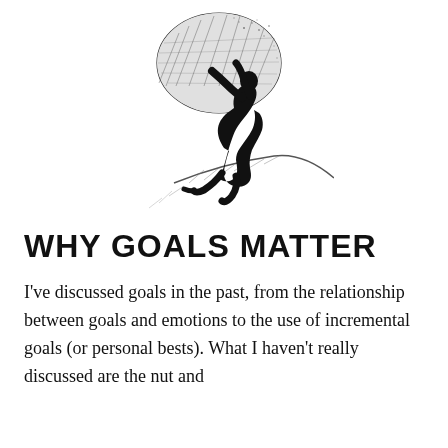[Figure (illustration): Black and white illustration of a silhouetted figure (Sisyphus) pushing a large boulder uphill, rendered in a stippled/crosshatch engraving style]
WHY GOALS MATTER
I've discussed goals in the past, from the relationship between goals and emotions to the use of incremental goals (or personal bests). What I haven't really discussed are the nut and